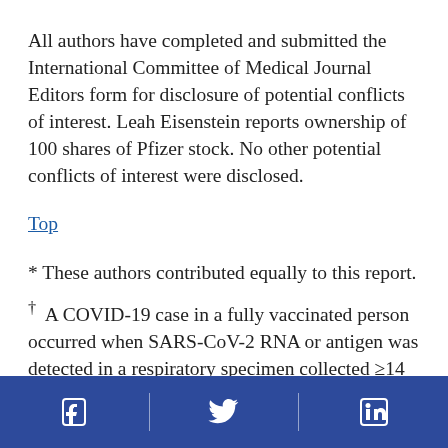All authors have completed and submitted the International Committee of Medical Journal Editors form for disclosure of potential conflicts of interest. Leah Eisenstein reports ownership of 100 shares of Pfizer stock. No other potential conflicts of interest were disclosed.
Top
* These authors contributed equally to this report.
† A COVID-19 case in a fully vaccinated person occurred when SARS-CoV-2 RNA or antigen was detected in a respiratory specimen collected ≥14 days after completing the primary series of a COVID-19 vaccine with Food and Drug Administration (FDA) [text continues below]
[Figure (other): Footer bar with social media icons: Facebook, Twitter (bird), LinkedIn on dark blue background]